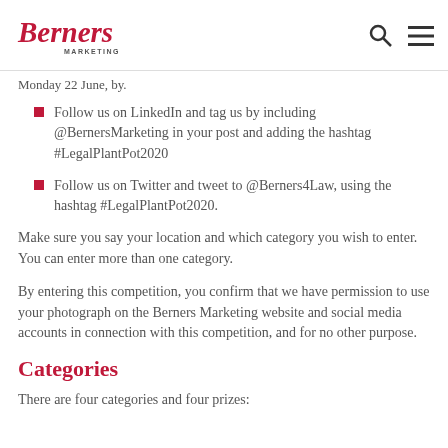Berners Marketing
Monday 22 June, by.
Follow us on LinkedIn and tag us by including @BernersMarketing in your post and adding the hashtag #LegalPlantPot2020
Follow us on Twitter and tweet to @Berners4Law, using the hashtag #LegalPlantPot2020.
Make sure you say your location and which category you wish to enter.  You can enter more than one category.
By entering this competition, you confirm that we have permission to use your photograph on the Berners Marketing website and social media accounts in connection with this competition, and for no other purpose.
Categories
There are four categories and four prizes: